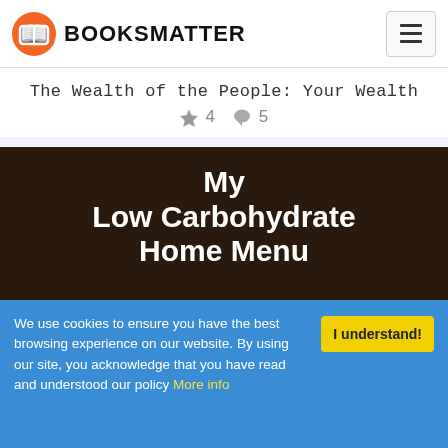BOOKSMATTER
The Wealth of the People: Your Wealth
★ 4  💬 5
[Figure (photo): Book cover image showing 'My Low Carbohydrate Home Menu' in white bold text on dark brown background, with a plate of food visible at the bottom]
We use cookies to ensure you have the best browsing experience on our website. By using our site, you acknowledge that you have read and understood our policy More info